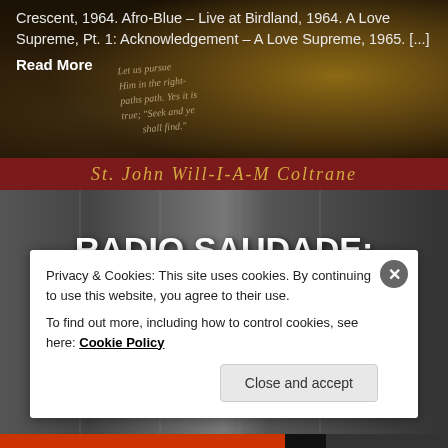[Figure (photo): Artwork/mural showing religious text with phrases 'Him in the right- paths path. Yes it is true; Seek and ye shall find.' with decorative calligraphy, and golden/amber decorative objects on dark background.]
Crescent, 1964. Afro-Blue – Live at Birdland, 1964. A Love Supreme, Pt. 1: Acknowledgement – A Love Supreme, 1965. [...]
Read More
St. John Will-I-A-M Coltrane
[Figure (photo): Dimly lit room scene with curtains and a person partially visible, dark atmospheric photo.]
RADIO SAUDADE: EPISODE 15 – THE GRADUATION IN
Privacy & Cookies: This site uses cookies. By continuing to use this website, you agree to their use.
To find out more, including how to control cookies, see here: Cookie Policy
Close and accept